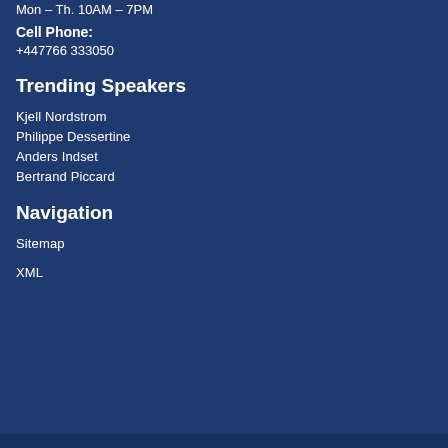Mon – Th. 10AM – 7PM
Cell Phone: +447766 333050
Trending Speakers
Kjell Nordstrom
Philippe Dessertine
Anders Indset
Bertrand Piccard
Navigation
Sitemap
XML